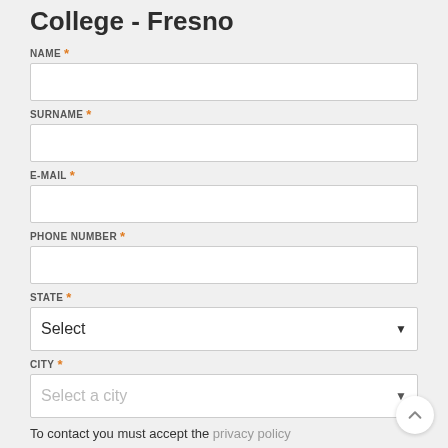College - Fresno
NAME *
SURNAME *
E-MAIL *
PHONE NUMBER *
STATE *
CITY *
To contact you must accept the privacy policy